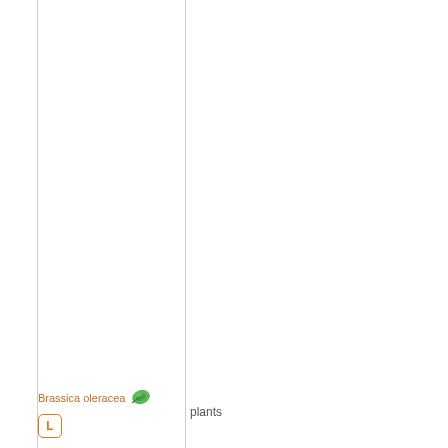Brassica oleracea
[Figure (illustration): Small green leaf/plant icon next to Brassica oleracea label]
L
plants
Brassicac